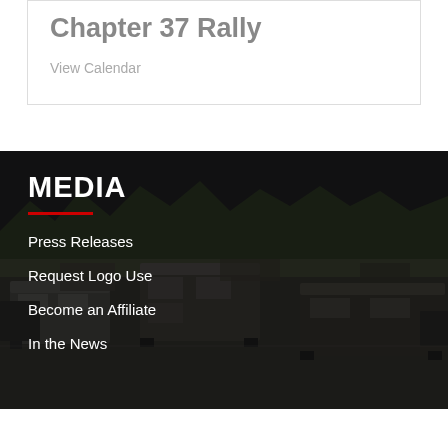Chapter 37 Rally
View Calendar
MEDIA
Press Releases
Request Logo Use
Become an Affiliate
In the News